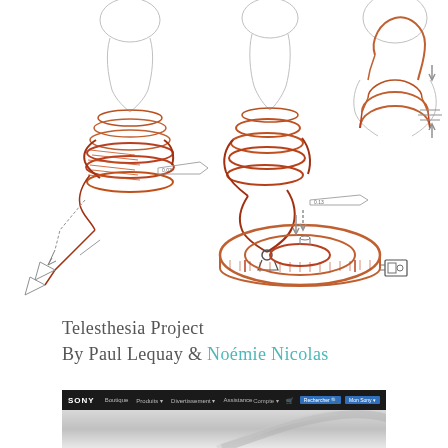[Figure (illustration): Design sketches of the Telesthesia Project — hand-drawn industrial design drawings in pencil and orange/copper marker showing three views of a neck/collar wearable device with mechanical components, plus an exploded view of a disc/ring component with arrows indicating assembly. Sketches show various angles with annotation lines.]
Telesthesia Project
By Paul Lequay & Noémie Nicolas
[Figure (screenshot): Screenshot of the Sony website (sony.com French version) showing the top navigation bar with Sony logo, menu items (Boutique, Produits, Divertissement, Assistance), search bar, and the top of the Sony website homepage with a grey gradient background and a partial curved design element.]